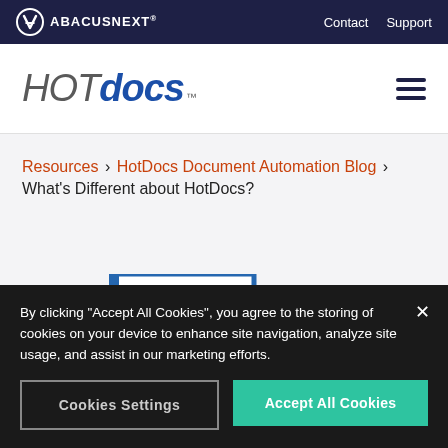ABACUSNEXT | Contact | Support
[Figure (logo): HotDocs logo with hamburger menu icon]
Resources › HotDocs Document Automation Blog › What's Different about HotDocs?
[Figure (illustration): Partial view of HotDocs document automation graphic showing a document icon with blue folder/page shape]
By clicking "Accept All Cookies", you agree to the storing of cookies on your device to enhance site navigation, analyze site usage, and assist in our marketing efforts.
Cookies Settings | Accept All Cookies